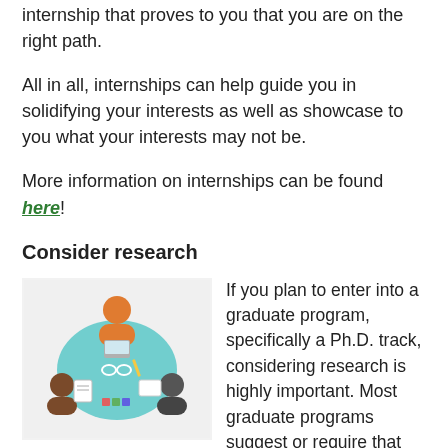internship that proves to you that you are on the right path.
All in all, internships can help guide you in solidifying your interests as well as showcase to you what your interests may not be.
More information on internships can be found here!
Consider research
[Figure (illustration): Overhead view illustration of several people sitting around a round table working together with laptops, notebooks, and papers]
If you plan to enter into a graduate program, specifically a Ph.D. track, considering research is highly important. Most graduate programs suggest or require that you have some research experience at hand. While taking quantitative methods and research methods is a good introduction to research, conducting research alongside a psychology faculty